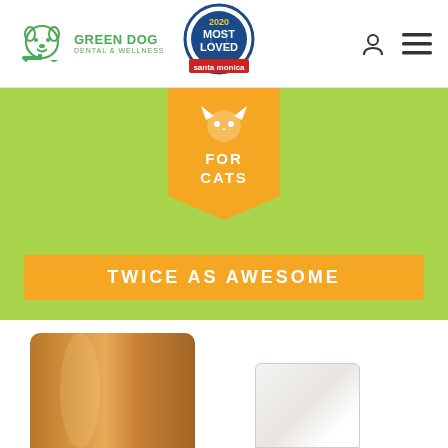[Figure (logo): Green Dog Dental & Wellness logo with cartoon dog icon in green]
[Figure (logo): 2020 Most Loved Santa Monica badge/seal]
[Figure (illustration): Green banner section with orange ribbon tag showing cat icon and text FOR CATS, and orange bar reading TWICE AS AWESOME]
FOR CATS
TWICE AS AWESOME
[Figure (photo): Brown cardboard tube/cylinder product, partially cropped at bottom]
[Figure (photo): White rectangular product partially visible at bottom right]